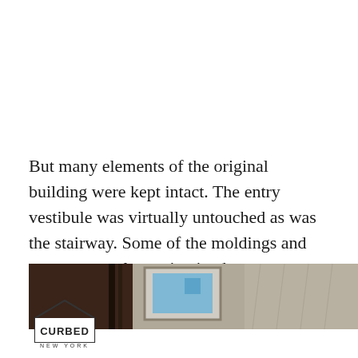But many elements of the original building were kept intact. The entry vestibule was virtually untouched as was the stairway. Some of the moldings and crown were also maintained.
[Figure (photo): Partial view of an interior stairway with dark wood railings and a framed picture on the wall, plus decorative moldings visible]
[Figure (logo): Curbed New York logo: house-shaped outline with 'CURBED' text inside and 'NEW YORK' below]